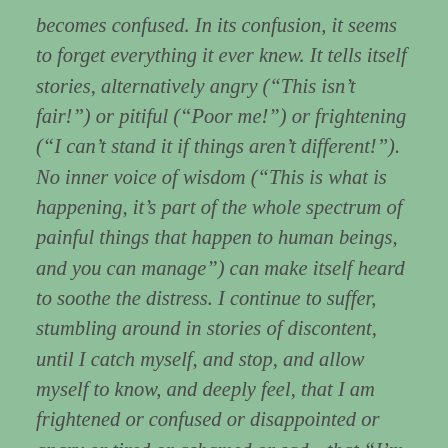becomes confused. In its confusion, it seems to forget everything it ever knew. It tells itself stories, alternatively angry (“This isn’t fair!”) or pitiful (“Poor me!”) or frightening (“I can’t stand it if things aren’t different!”). No inner voice of wisdom (“This is what is happening, it’s part of the whole spectrum of painful things that happen to human beings, and you can manage”) can make itself heard to soothe the distress. I continue to suffer, stumbling around in stories of discontent, until I catch myself, and stop, and allow myself to know, and deeply feel, that I am frightened or confused or disappointed or angry or tired or ashamed or sad—that “I’m in pain!” Then my own good heart, out of compassion, takes care of me.